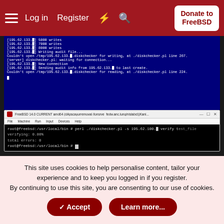Log in  Register  Donate to FreeBSD
[Figure (screenshot): FreeBSD terminal screenshot showing a blue terminal window with disk checker output messages and a black terminal window (FreeBSD 14.0 CURRENT) showing perl diskchecker.pl verify command output with verifying: 0.00% and total errors: 0]
This site uses cookies to help personalise content, tailor your experience and to keep you logged in if you register.
By continuing to use this site, you are consenting to our use of cookies.
✓ Accept  Learn more...